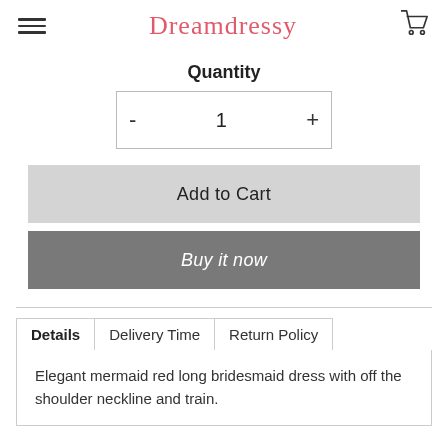Dreamdressy
Quantity
- 1 +
Add to Cart
Buy it now
| Details | Delivery Time | Return Policy |
| --- | --- | --- |
Elegant mermaid red long bridesmaid dress with off the shoulder neckline and train.